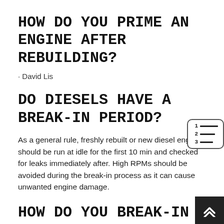HOW DO YOU PRIME AN ENGINE AFTER REBUILDING?
· David Lis
DO DIESELS HAVE A BREAK-IN PERIOD?
As a general rule, freshly rebuilt or new diesel engines should be run at idle for the first 10 min and checked for leaks immediately after. High RPMs should be avoided during the break-in process as it can cause unwanted engine damage.
HOW DO YOU BREAK-IN A DIESEL ENGINE?
DO operate the engine under moderate loads at